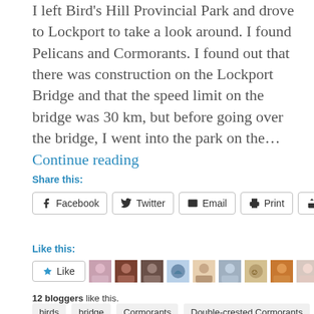I left Bird's Hill Provincial Park and drove to Lockport to take a look around. I found Pelicans and Cormorants. I found out that there was construction on the Lockport Bridge and that the speed limit on the bridge was 30 km, but before going over the bridge, I went into the park on the... Continue reading
Share this:
Facebook | Twitter | Email | Print | More
Like this:
Like | 12 bloggers like this.
birds
bridge
Cormorants
Double-crested Cormorants